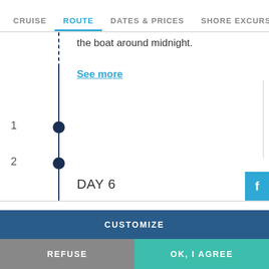CRUISE  ROUTE  DATES & PRICES  SHORE EXCURSIONS
the boat around midnight.
See more
1
2
DAY 6
[Figure (illustration): Seashell / MSC Cruises logo icon outline]
We use cookies on this site to enhance your user experience. By clicking any link on this page you are giving your consent for us to set cookies. For more details, click on "Learn more".
CUSTOMIZE
REFUSE
OK, I AGREE